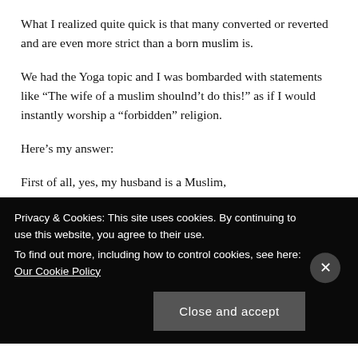What I realized quite quick is that many converted or reverted and are even more strict than a born muslim is.
We had the Yoga topic and I was bombarded with statements like “The wife of a muslim shoulnd’t do this!” as if I would instantly worship a “forbidden” religion.
Here’s my answer:
First of all, yes, my husband is a Muslim,
Privacy & Cookies: This site uses cookies. By continuing to use this website, you agree to their use.
To find out more, including how to control cookies, see here: Our Cookie Policy
Close and accept